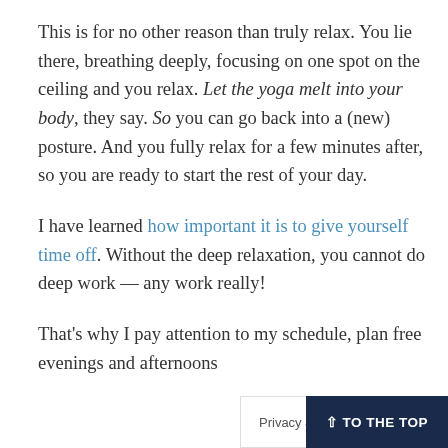This is for no other reason than truly relax. You lie there, breathing deeply, focusing on one spot on the ceiling and you relax. Let the yoga melt into your body, they say. So you can go back into a (new) posture. And you fully relax for a few minutes after, so you are ready to start the rest of your day.
I have learned how important it is to give yourself time off. Without the deep relaxation, you cannot do deep work — any work really!
That's why I pay attention to my schedule, plan free evenings and afternoons...
Privacy & Cookies Policy    ↑ TO THE TOP